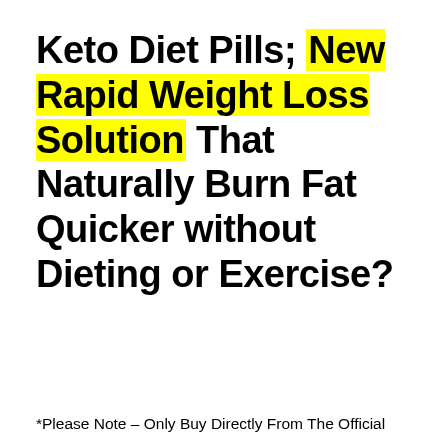Keto Diet Pills; New Rapid Weight Loss Solution That Naturally Burn Fat Quicker without Dieting or Exercise?
*Please Note – Only Buy Directly From The Official